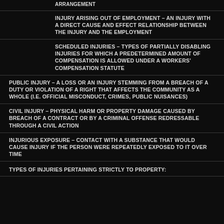ARRANGEMENT
INJURY ARISING OUT OF EMPLOYMENT – AN INJURY WITH A DIRECT CAUSE AND EFFECT RELATIONSHIP BETWEEN THE INJURY AND THE EMPLOYMENT
SCHEDULED INJURIES – TYPES OF PARTIALLY DISABLING INJURIES FOR WHICH A PREDETERMINED AMOUNT OF COMPENSATION IS ALLOWED UNDER A WORKERS' COMPENSATION STATUTE
PUBLIC INJURY – A LOSS OR AN INJURY STEMMING FROM A BREACH OF A DUTY OR VIOLATION OF A RIGHT THAT AFFECTS THE COMMUNITY AS A WHOLE (I.E. OFFICIAL MISCONDUCT, CRIMES, PUBLIC NUISANCES)
CIVIL INJURY – PHYSICAL HARM OR PROPERTY DAMAGE CAUSED BY BREACH OF A CONTRACT OR BY A CRIMINAL OFFENSE REDRESSABLE THROUGH A CIVIL ACTION
INJURIOUS EXPOSURE – CONTACT WITH A SUBSTANCE THAT WOULD CAUSE INJURY IF THE PERSON WERE REPEATEDLY EXPOSED TO IT OVER TIME
TYPES OF INJURIES PERTAINING STRICTLY TO PROPERTY: